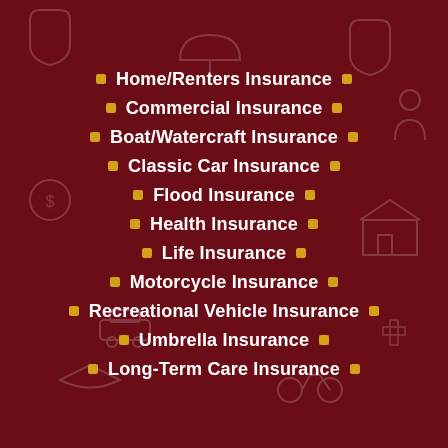Home/Renters Insurance
Commercial Insurance
Boat/Watercraft Insurance
Classic Car Insurance
Flood Insurance
Health Insurance
Life Insurance
Motorcycle Insurance
Recreational Vehicle Insurance
Umbrella Insurance
Long-Term Care Insurance